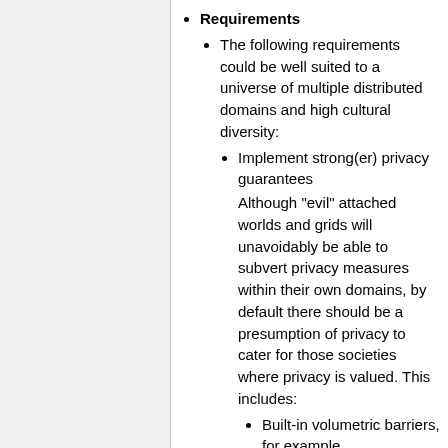Requirements
The following requirements could be well suited to a universe of multiple distributed domains and high cultural diversity:
Implement strong(er) privacy guarantees
Although "evil" attached worlds and grids will unavoidably be able to subvert privacy measures within their own domains, by default there should be a presumption of privacy to cater for those societies where privacy is valued. This includes:
Built-in volumetric barriers, for example